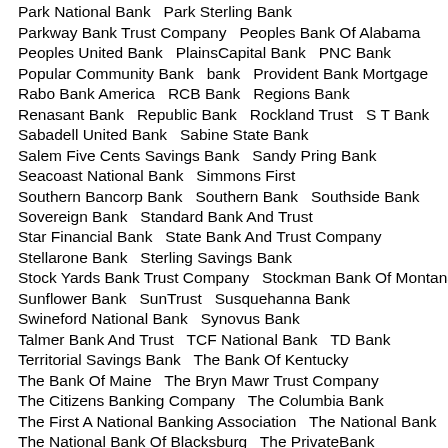OneWest Bank   Opus Bank   Pacific Western Bank
Park National Bank   Park Sterling Bank
Parkway Bank Trust Company   Peoples Bank Of Alabama
Peoples United Bank   PlainsCapital Bank   PNC Bank
Popular Community Bank   bank   Provident Bank Mortgage
Rabo Bank America   RCB Bank   Regions Bank
Renasant Bank   Republic Bank   Rockland Trust   S T Bank
Sabadell United Bank   Sabine State Bank
Salem Five Cents Savings Bank   Sandy Pring Bank
Seacoast National Bank   Simmons First
Southern Bancorp Bank   Southern Bank   Southside Bank
Sovereign Bank   Standard Bank And Trust
Star Financial Bank   State Bank And Trust Company
Stellarone Bank   Sterling Savings Bank
Stock Yards Bank Trust Company   Stockman Bank Of Montana
Sunflower Bank   SunTrust   Susquehanna Bank
Swineford National Bank   Synovus Bank
Talmer Bank And Trust   TCF National Bank   TD Bank
Territorial Savings Bank   The Bank Of Kentucky
The Bank Of Maine   The Bryn Mawr Trust Company
The Citizens Banking Company   The Columbia Bank
The First A National Banking Association   The National Bank
The National Bank Of Blacksburg   The PrivateBank